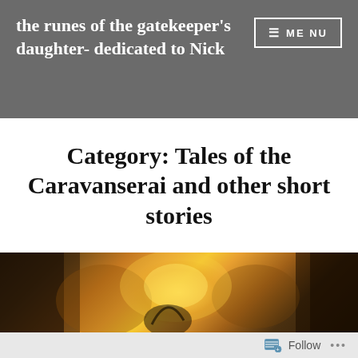the runes of the gatekeeper's daughter- dedicated to Nick
Category: Tales of the Caravanserai and other short stories
[Figure (photo): A dark fantasy illustration showing a figure with flowing hair holding a glowing light source, surrounded by warm amber and orange tones with shadowy foliage in the background.]
Follow ...